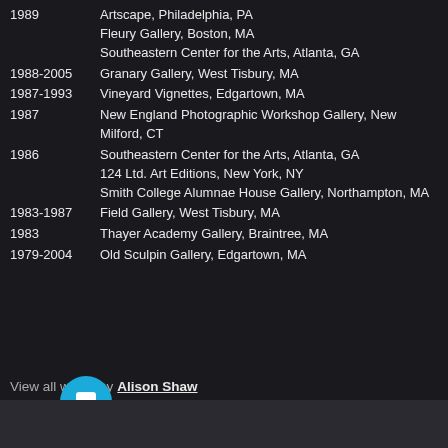1989   Artscape, Philadelphia, PA
Fleury Gallery, Boston, MA
Southeastern Center for the Arts, Atlanta, GA
1988-2005  Granary Gallery, West Tisbury, MA
1987-1993  Vineyard Vignettes, Edgartown, MA
1987       New England Photographic Workshop Gallery, New Milford, CT
1986       Southeastern Center for the Arts, Atlanta, GA
124 Ltd. Art Editions, New York, NY
Smith College Alumnae House Gallery, Northampton, MA
1983-1987  Field Gallery, West Tisbury, MA
1983       Thayer Academy Gallery, Braintree, MA
1979-2004  Old Sculpin Gallery, Edgartown, MA
View all works by Alison Shaw